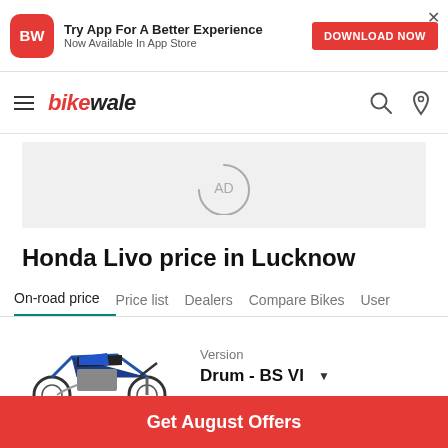[Figure (screenshot): App download banner with BW red icon, text 'Try App For A Better Experience / Now Available In App Store', red DOWNLOAD NOW button, and X close button]
[Figure (logo): BikeWale logo with hamburger menu icon, and search and location icons on the right]
[Figure (other): Advertisement placeholder area showing AD circular loading icon]
Honda Livo price in Lucknow
On-road price  Price list  Dealers  Compare Bikes  User
[Figure (photo): Honda Livo motorcycle image in blue color]
Version
Drum - BS VI
Get August Offers